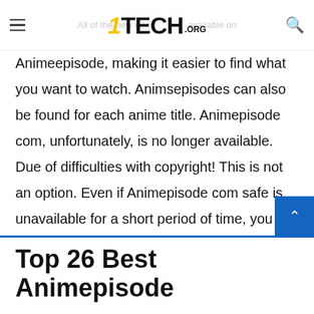1TECH.ORG
Animeepisode, making it easier to find what you want to watch. Animsepisodes can also be found for each anime title. Animepisode com, unfortunately, is no longer available. Due of difficulties with copyright! This is not an option. Even if Animepisode com safe is unavailable for a short period of time, you can still stream your favorite anime. Here are a some of the best Animepisode substitutes you'll enjoy.
Top 26 Best Animepisode